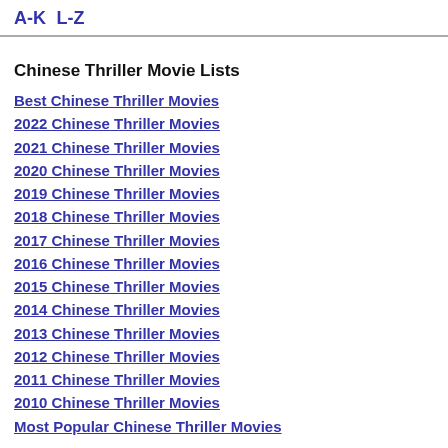A-K L-Z
Chinese Thriller Movie Lists
Best Chinese Thriller Movies
2022 Chinese Thriller Movies
2021 Chinese Thriller Movies
2020 Chinese Thriller Movies
2019 Chinese Thriller Movies
2018 Chinese Thriller Movies
2017 Chinese Thriller Movies
2016 Chinese Thriller Movies
2015 Chinese Thriller Movies
2014 Chinese Thriller Movies
2013 Chinese Thriller Movies
2012 Chinese Thriller Movies
2011 Chinese Thriller Movies
2010 Chinese Thriller Movies
Most Popular Chinese Thriller Movies